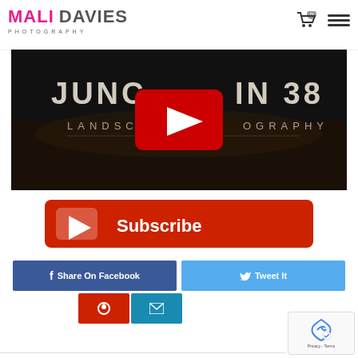[Figure (logo): Mali Davies Photography logo with pink MALI and grey DAVIES text, PHOTOGRAPHY in small caps below]
[Figure (screenshot): YouTube video thumbnail showing landscape photography with text JUNC...IN 38 LANDSCAPE...OGRAPHY and YouTube play button overlay]
[Figure (other): Red YouTube Subscribe button with play icon and white Subscribe text]
[Figure (other): Social sharing buttons: Share On Facebook (blue), Tweet It (light blue), Pinterest (red), Email (blue)]
[Figure (other): reCAPTCHA widget at bottom right with Privacy - Terms text]